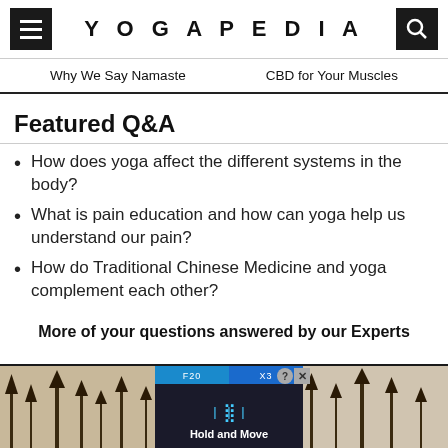YOGAPEDIA
Why We Say Namaste    CBD for Your Muscles
Featured Q&A
How does yoga affect the different systems in the body?
What is pain education and how can yoga help us understand our pain?
How do Traditional Chinese Medicine and yoga complement each other?
More of your questions answered by our Experts
[Figure (screenshot): Advertisement banner at bottom showing 'Hold and Move' app with tree silhouettes and dark UI with blue accents]